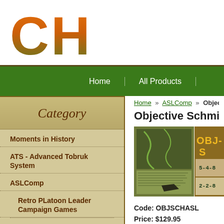[Figure (logo): CH logo in large orange-to-brown gradient block letters]
Home | All Products |
Home » ASLComp » Objective Sch...
Objective Schmidt ASLC...
Category
Moments in History
ATS - Advanced Tobruk System
ASLComp
Retro PLatoon Leader Campaign Games
[Figure (photo): Product image for Objective Schmidt ASLComp, showing game map and components]
Code: OBJSCHASL
Price: $129.95
Shipping Weight: 5.00 pounds